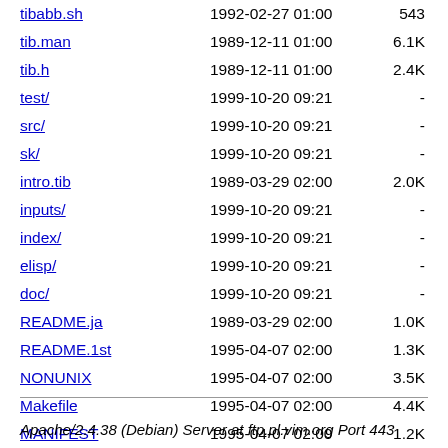tibabb.sh   1992-02-27 01:00   543
tib.man   1989-12-11 01:00  6.1K
tib.h   1989-12-11 01:00  2.4K
test/   1999-10-20 09:21   -
src/   1999-10-20 09:21   -
sk/   1999-10-20 09:21   -
intro.tib   1989-03-29 02:00  2.0K
inputs/   1999-10-20 09:21   -
index/   1999-10-20 09:21   -
elisp/   1999-10-20 09:21   -
doc/   1999-10-20 09:21   -
README.ja   1989-03-29 02:00  1.0K
README.1st   1995-04-07 02:00  1.3K
NONUNIX   1995-04-07 02:00  3.5K
Makefile   1995-04-07 02:00  4.4K
MANIFEST   1995-04-07 02:00  1.2K
INSTALL   1995-04-07 02:00  3.2K
CHANGES   1995-04-07 02:00  4.2K
Apache/2.4.38 (Debian) Server at ftp.pl.vim.org Port 443